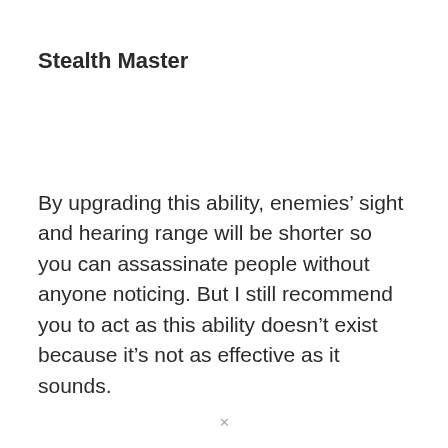Stealth Master
By upgrading this ability, enemies’ sight and hearing range will be shorter so you can assassinate people without anyone noticing. But I still recommend you to act as this ability doesn’t exist because it’s not as effective as it sounds.